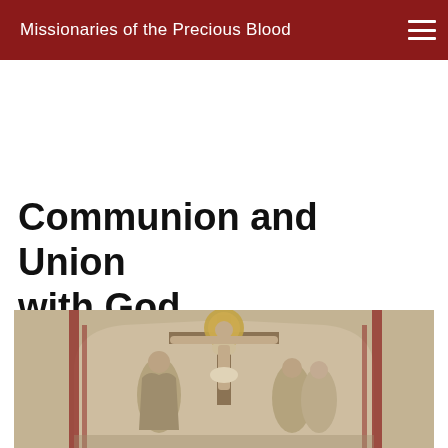Missionaries of the Precious Blood
Communion and Union with God
[Figure (photo): A sculptural relief depicting the crucifixion of Jesus Christ on a cross with a golden halo, flanked by several figures including saints or disciples in robes, set within an arched niche with red accent borders.]